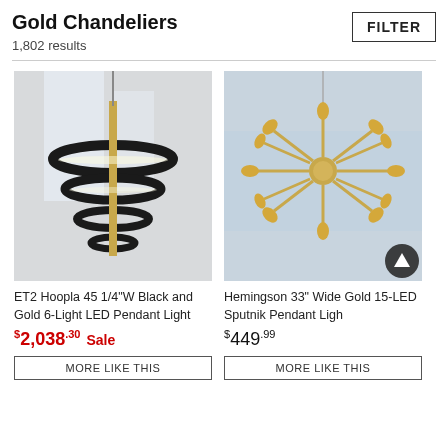Gold Chandeliers
1,802 results
FILTER
[Figure (photo): ET2 Hoopla 45 1/4"W Black and Gold 6-Light LED Pendant Light — black concentric ring chandelier with gold accents hanging in a bright room]
[Figure (photo): Hemingson 33" Wide Gold 15-LED Sputnik Pendant Light — gold sputnik chandelier with multiple radiating arms and Edison bulbs against a light blue background]
ET2 Hoopla 45 1/4"W Black and Gold 6-Light LED Pendant Light
Hemingson 33" Wide Gold 15-LED Sputnik Pendant Light
$2,038.30 Sale
$449.99
MORE LIKE THIS
MORE LIKE THIS